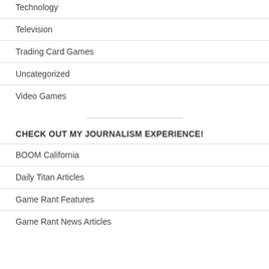Technology
Television
Trading Card Games
Uncategorized
Video Games
CHECK OUT MY JOURNALISM EXPERIENCE!
BOOM California
Daily Titan Articles
Game Rant Features
Game Rant News Articles